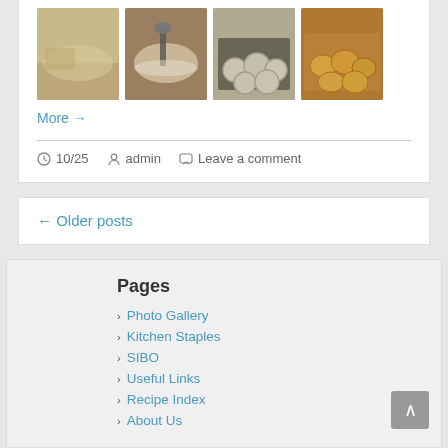[Figure (photo): Four food photos in a row showing biscuit/bread making process: hands pressing dough, rolling dough with flour, cut biscuits on a tray, and baked biscuits on a pan.]
More →
10/25   admin   Leave a comment
← Older posts
Pages
Photo Gallery
Kitchen Staples
SIBO
Useful Links
Recipe Index
About Us